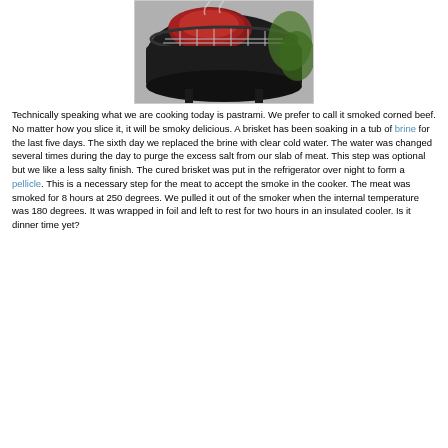[Figure (photo): A black round smoker/grill with meat cooking on the grate, smoke rising, set outdoors with greenery in background.]
Technically speaking what we are cooking today is pastrami. We prefer to call it smoked corned beef. No matter how you slice it, it will be smoky delicious. A brisket has been soaking in a tub of brine for the last five days. The sixth day we replaced the brine with clear cold water. The water was changed several times during the day to purge the excess salt from our slab of meat. This step was optional but we like a less salty finish. The cured brisket was put in the refrigerator over night to form a pellicle. This is a necessary step for the meat to accept the smoke in the cooker. The meat was smoked for 8 hours at 250 degrees. We pulled it out of the smoker when the internal temperature was 180 degrees. It was wrapped in foil and left to rest for two hours in an insulated cooler. Is it dinner time yet?